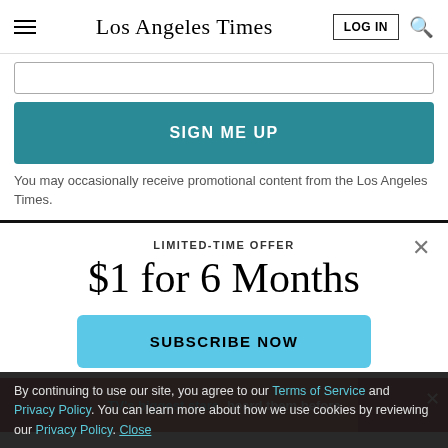Los Angeles Times
[Figure (screenshot): Email input field (partially visible, top cropped)]
SIGN ME UP
You may occasionally receive promotional content from the Los Angeles Times.
LIMITED-TIME OFFER
$1 for 6 Months
SUBSCRIBE NOW
By continuing to use our site, you agree to our Terms of Service and Privacy Policy. You can learn more about how we use cookies by reviewing our Privacy Policy. Close
TV's biggest stars, heard them before